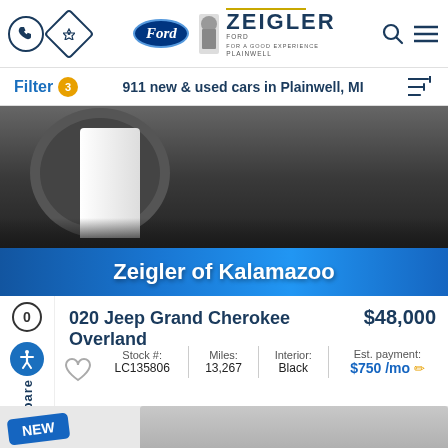Zeigler Ford Plainwell — phone, directions, Ford logo, search, menu
Filter 3   911 new & used cars in Plainwell, MI
[Figure (photo): Partial view of a white car wheel and underside in a garage/showroom, dark background]
Zeigler of Kalamazoo
2020 Jeep Grand Cherokee Overland   $48,000
| Stock # | Miles: | Interior: | Est. payment: |
| --- | --- | --- | --- |
| LC135806 | 13,267 | Black | $750 /mo |
[Figure (photo): Gray placeholder area for a second car listing image, partially visible at bottom]